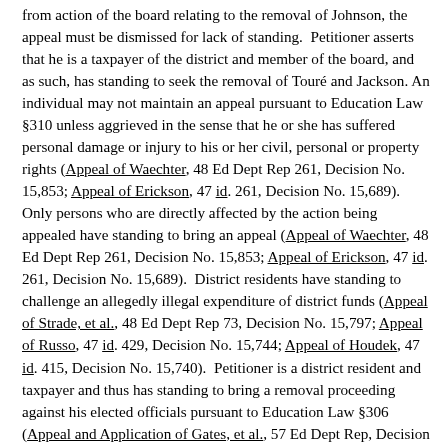from action of the board relating to the removal of Johnson, the appeal must be dismissed for lack of standing.  Petitioner asserts that he is a taxpayer of the district and member of the board, and as such, has standing to seek the removal of Touré and Jackson. An individual may not maintain an appeal pursuant to Education Law §310 unless aggrieved in the sense that he or she has suffered personal damage or injury to his or her civil, personal or property rights (Appeal of Waechter, 48 Ed Dept Rep 261, Decision No. 15,853; Appeal of Erickson, 47 id. 261, Decision No. 15,689).  Only persons who are directly affected by the action being appealed have standing to bring an appeal (Appeal of Waechter, 48 Ed Dept Rep 261, Decision No. 15,853; Appeal of Erickson, 47 id. 261, Decision No. 15,689).  District residents have standing to challenge an allegedly illegal expenditure of district funds (Appeal of Strade, et al., 48 Ed Dept Rep 73, Decision No. 15,797; Appeal of Russo, 47 id. 429, Decision No. 15,744; Appeal of Houdek, 47 id. 415, Decision No. 15,740).  Petitioner is a district resident and taxpayer and thus has standing to bring a removal proceeding against his elected officials pursuant to Education Law §306 (Appeal and Application of Gates, et al., 57 Ed Dept Rep, Decision No. 17,188; Application of Wilson, 41 id. 196, Decision No. 14,663; Application of Eisenkraft, 38 id. 553, Decision No. 14,092).  However, respondent is correct that petitioner lacks